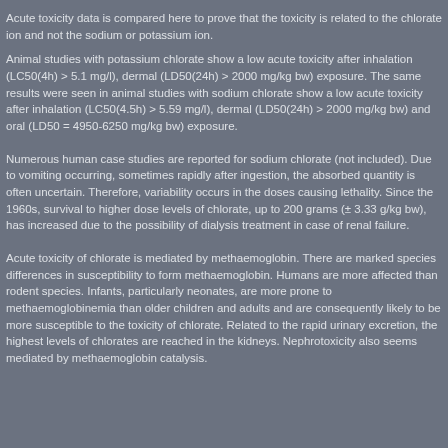Acute toxicity data is compared here to prove that the toxicity is related to the chlorate ion and not the sodium or potassium ion.
Animal studies with potassium chlorate show a low acute toxicity after inhalation (LC50(4h) > 5.1 mg/l), dermal (LD50(24h) > 2000 mg/kg bw) exposure. The same results were seen in animal studies with sodium chlorate show a low acute toxicity after inhalation (LC50(4.5h) > 5.59 mg/l), dermal (LD50(24h) > 2000 mg/kg bw) and oral (LD50 = 4950-6250 mg/kg bw) exposure.
Numerous human case studies are reported for sodium chlorate (not included). Due to vomiting occurring, sometimes rapidly after ingestion, the absorbed quantity is often uncertain. Therefore, variability occurs in the doses causing lethality. Since the 1960s, survival to higher dose levels of chlorate, up to 200 grams (± 3.33 g/kg bw), has increased due to the possibility of dialysis treatment in case of renal failure.
Acute toxicity of chlorate is mediated by methaemoglobin. There are marked species differences in susceptibility to form methaemoglobin. Humans are more affected than rodent species. Infants, particularly neonates, are more prone to methaemoglobinemia than older children and adults and are consequently likely to be more susceptible to the toxicity of chlorate. Related to the rapid urinary excretion, the highest levels of chlorates are reached in the kidneys. Nephrotoxicity also seems mediated by methaemoglobin catalysis.